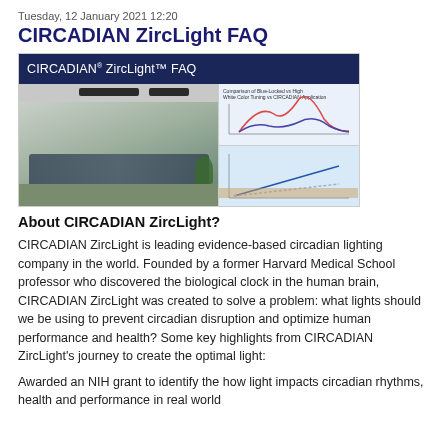Tuesday, 12 January 2021 12:20
CIRCADIAN ZircLight FAQ
[Figure (photo): Composite image showing CIRCADIAN® ZircLight™ FAQ banner in dark blue at top, office corridor with modern lighting on the left, and two scientific charts/graphs on the right side.]
About CIRCADIAN ZircLight?
CIRCADIAN ZircLight is leading evidence-based circadian lighting company in the world. Founded by a former Harvard Medical School professor who discovered the biological clock in the human brain, CIRCADIAN ZircLight was created to solve a problem: what lights should we be using to prevent circadian disruption and optimize human performance and health? Some key highlights from CIRCADIAN ZircLight's journey to create the optimal light:
Awarded an NIH grant to identify the how light impacts circadian rhythms, health and performance in real world